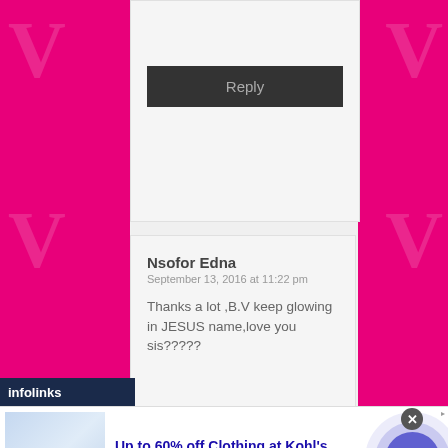[Figure (screenshot): Reply button (dark gray background) in comment section]
Nsofor Edna
September 13, 2016 at 11:22 pm
Thanks a lot ,B.V keep glowing in JESUS name,love you sis?????
[Figure (screenshot): Infolinks branded bar at bottom left]
[Figure (screenshot): Advertisement banner: Up to 60% off Clothing at Kohl's. Save up to 60% on clothing and homeware at Kohl's.com. kohls.com]